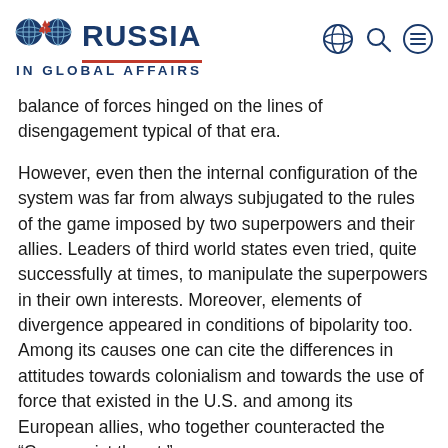RUSSIA IN GLOBAL AFFAIRS
balance of forces hinged on the lines of disengagement typical of that era.
However, even then the internal configuration of the system was far from always subjugated to the rules of the game imposed by two superpowers and their allies. Leaders of third world states even tried, quite successfully at times, to manipulate the superpowers in their own interests. Moreover, elements of divergence appeared in conditions of bipolarity too. Among its causes one can cite the differences in attitudes towards colonialism and towards the use of force that existed in the U.S. and among its European allies, who together counteracted the “Communist threat.”
Israel’s Prime Minister David Ben Gurion and especially Foreign Minister Moshe Sharett first